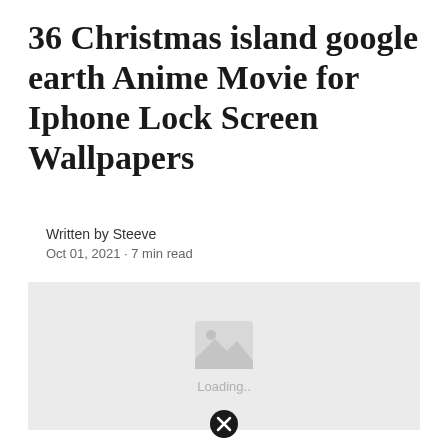36 Christmas island google earth Anime Movie for Iphone Lock Screen Wallpapers
Written by Steeve
Oct 01, 2021 · 7 min read
[Figure (other): Image placeholder with mountain/photo icon and 'Loading..' text below it, on a light grey background]
[Figure (other): Black circle close/cancel button at bottom center of page]